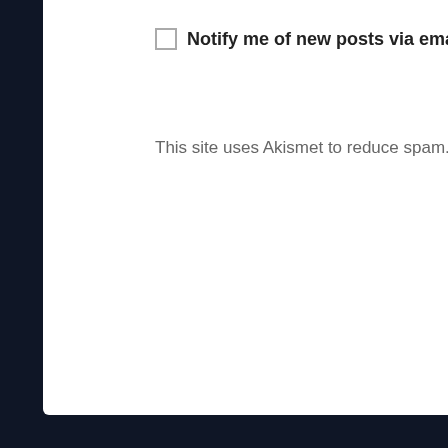Notify me of new posts via email.
This site uses Akismet to reduce spam. Learn how your comment data is processed.